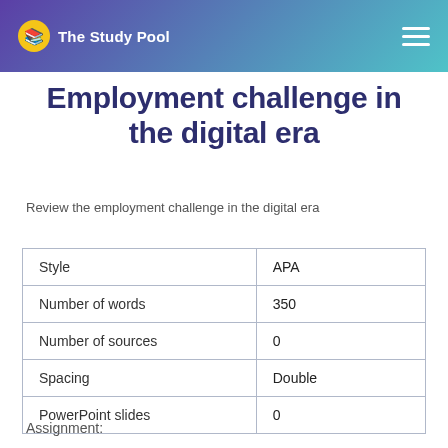The Study Pool
Employment challenge in the digital era
Review the employment challenge in the digital era
| Style | APA |
| Number of words | 350 |
| Number of sources | 0 |
| Spacing | Double |
| PowerPoint slides | 0 |
Assignment: